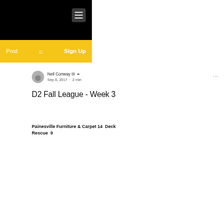[Figure (screenshot): Black website header bar with hamburger menu icon in top right]
Post   🔍   Sign Up
Neil Conway III ✒ Sep 8, 2017 · 2 min
D2 Fall League - Week 3
Painesville Furniture & Carpet 14  Deck Rescue  9